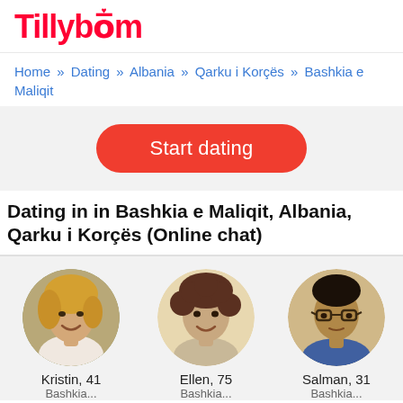Tillybom
Home » Dating » Albania » Qarku i Korçës » Bashkia e Maliqit
[Figure (other): Start dating button — red rounded rectangle with white text]
Dating in in Bashkia e Maliqit, Albania, Qarku i Korçës (Online chat)
[Figure (photo): Circular profile photo of Kristin, 41, a blonde woman smiling]
Kristin, 41
[Figure (photo): Circular profile photo of Ellen, 75, a woman with curly brown hair smiling]
Ellen, 75
[Figure (photo): Circular profile photo of Salman, 31, a man with glasses]
Salman, 31